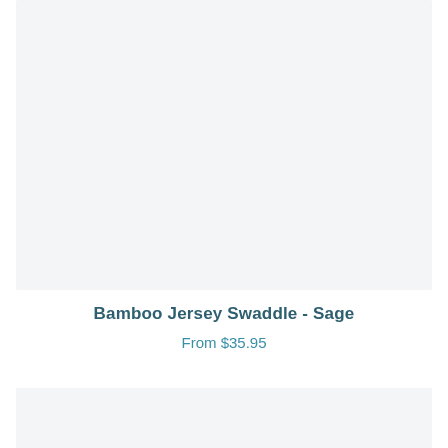[Figure (photo): Product image placeholder area with light gray background for Bamboo Jersey Swaddle - Sage]
Bamboo Jersey Swaddle - Sage
From $35.95
[Figure (other): Judge.me Reviews button banner with dark teal background and star icon]